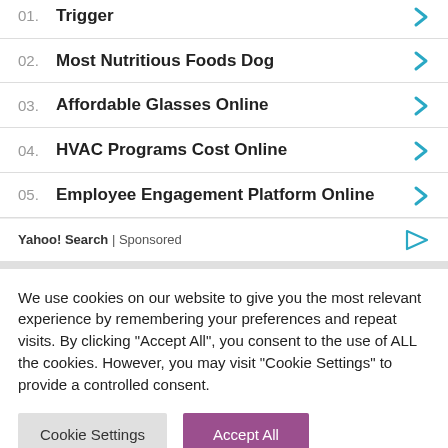01. Trigger
02. Most Nutritious Foods Dog
03. Affordable Glasses Online
04. HVAC Programs Cost Online
05. Employee Engagement Platform Online
Yahoo! Search | Sponsored
We use cookies on our website to give you the most relevant experience by remembering your preferences and repeat visits. By clicking "Accept All", you consent to the use of ALL the cookies. However, you may visit "Cookie Settings" to provide a controlled consent.
Cookie Settings
Accept All